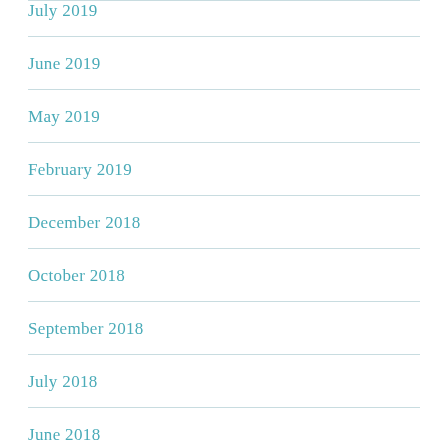July 2019
June 2019
May 2019
February 2019
December 2018
October 2018
September 2018
July 2018
June 2018
May 2018